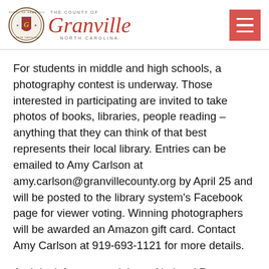[Figure (logo): County of Granville, North Carolina official seal and logo with red script 'Granville' text]
For students in middle and high schools, a photography contest is underway. Those interested in participating are invited to take photos of books, libraries, people reading – anything that they can think of that best represents their local library. Entries can be emailed to Amy Carlson at amy.carlson@granvillecounty.org by April 25 and will be posted to the library system's Facebook page for viewer voting. Winning photographers will be awarded an Amazon gift card. Contact Amy Carlson at 919-693-1121 for more details.
And don't forget to celebrate National Poetry Month with the library. Throughout the end of